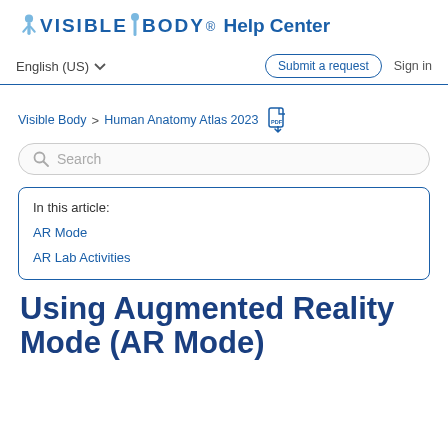Visible Body Help Center
English (US)  ∨        Submit a request        Sign in
Visible Body > Human Anatomy Atlas 2023
Search
In this article:
AR Mode
AR Lab Activities
Using Augmented Reality Mode (AR Mode)